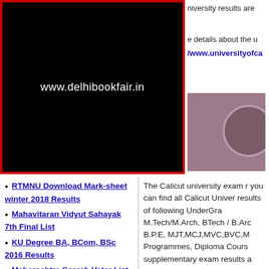[Figure (photo): Black advertisement banner with red border showing text 'www.delhibookfair.in']
university results are
e details about the u
/www.universityofca
[Figure (photo): Partial image with mauve/purple background and partial circle visible]
RTMNU Download Mark-sheet winter 2018 Results
Mahavitaran Vidyut Sahayak 7th Final List
KU Degree BA, BCom, BSc 2016 Results
Maharashtra Search Voter List Name
The Calicut university exam r you can find all Calicut Univer results of following UnderGra M.Tech/M.Arch, BTech / B.Ar B.P.E, MJT,MCJ,MVC,BVC,M Programmes, Diploma Cours supplementary exam results a